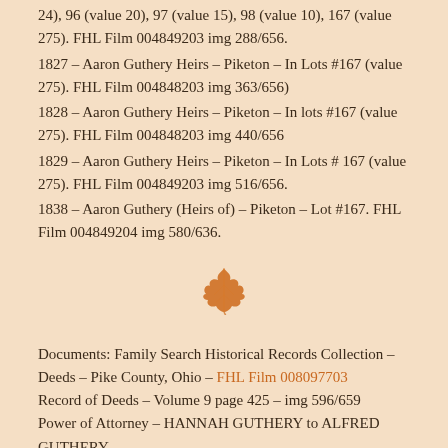24), 96 (value 20), 97 (value 15), 98 (value 10), 167 (value 275). FHL Film 004849203 img 288/656.
1827 – Aaron Guthery Heirs – Piketon – In Lots #167 (value 275). FHL Film 004848203 img 363/656)
1828 – Aaron Guthery Heirs – Piketon – In lots #167 (value 275). FHL Film 004848203 img 440/656
1829 – Aaron Guthery Heirs – Piketon – In Lots # 167 (value 275). FHL Film 004849203 img 516/656.
1838 – Aaron Guthery (Heirs of) – Piketon – Lot #167. FHL Film 004849204 img 580/636.
[Figure (illustration): Orange/brown maple leaf decorative divider]
Documents: Family Search Historical Records Collection – Deeds – Pike County, Ohio – FHL Film 008097703
Record of Deeds – Volume 9 page 425 – img 596/659
Power of Attorney – HANNAH GUTHERY to ALFRED GUTHERY
Know all men by these presents that I HANNAH GUTHERY now of BROWN COUNTY OHIO one of the legal heirs and